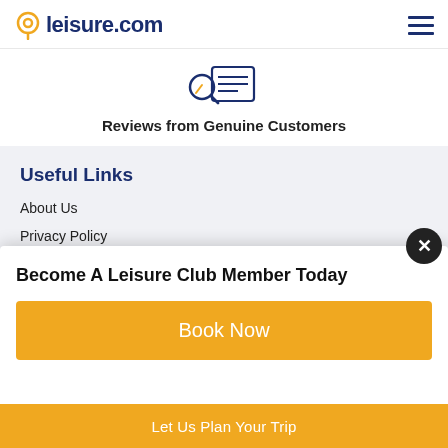leisure.com
[Figure (illustration): Icon of a magnifying glass over a document with lines, representing reviews]
Reviews from Genuine Customers
Useful Links
About Us
Privacy Policy
Terms & Conditions
Content Licensing
Become A Leisure Club Member Today
Book Now
Let Us Plan Your Trip